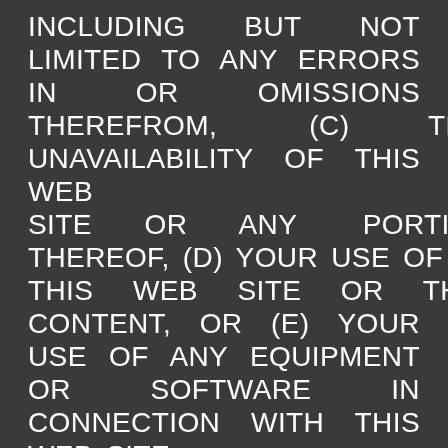INCLUDING BUT NOT LIMITED TO ANY ERRORS IN OR OMISSIONS THEREFROM, (C) THE UNAVAILABILITY OF THIS WEB SITE OR ANY PORTION THEREOF, (D) YOUR USE OF THIS WEB SITE OR THE CONTENT, OR (E) YOUR USE OF ANY EQUIPMENT OR SOFTWARE IN CONNECTION WITH THIS WEB SITE.
LIMITATION OF LIABILITY.
Www.deluxe-magazine.com SHALL